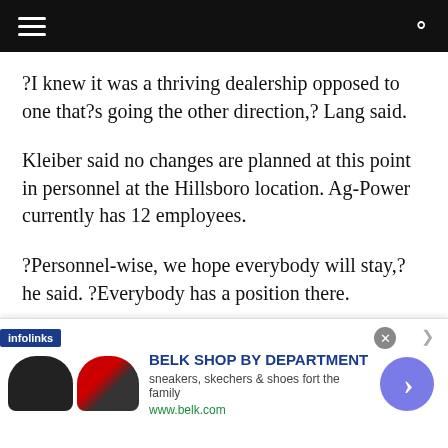Navigation header bar
?I knew it was a thriving dealership opposed to one that?s going the other direction,? Lang said.
Kleiber said no changes are planned at this point in personnel at the Hillsboro location. Ag-Power currently has 12 employees.
?Personnel-wise, we hope everybody will stay,? he said. ?Everybody has a position there.
?Brian is a laid-back guy,? Kleiber added. ?He is not a manager. He let?s his locations run
[Figure (other): Advertisement banner: BELK SHOP BY DEPARTMENT - sneakers, skechers & shoes fort the family - www.belk.com, with shoe images and infolinks label]